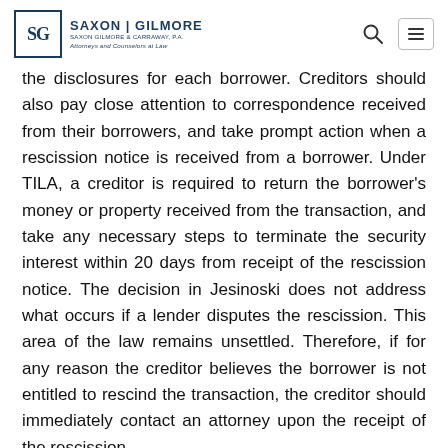Saxon | Gilmore — Saxon Gilmore & Carraway, P.A. Attorneys and Counselors at Law
the disclosures for each borrower. Creditors should also pay close attention to correspondence received from their borrowers, and take prompt action when a rescission notice is received from a borrower. Under TILA, a creditor is required to return the borrower's money or property received from the transaction, and take any necessary steps to terminate the security interest within 20 days from receipt of the rescission notice. The decision in Jesinoski does not address what occurs if a lender disputes the rescission. This area of the law remains unsettled. Therefore, if for any reason the creditor believes the borrower is not entitled to rescind the transaction, the creditor should immediately contact an attorney upon the receipt of the rescission